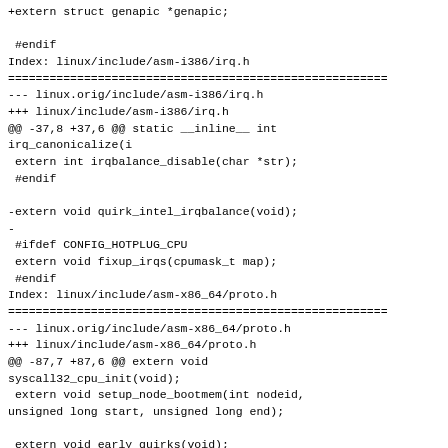+extern struct genapic *genapic;

 #endif
Index: linux/include/asm-i386/irq.h
===================================================
--- linux.orig/include/asm-i386/irq.h
+++ linux/include/asm-i386/irq.h
@@ -37,8 +37,6 @@ static __inline__ int irq_canonicalize(i
 extern int irqbalance_disable(char *str);
 #endif

-extern void quirk_intel_irqbalance(void);
-
 #ifdef CONFIG_HOTPLUG_CPU
 extern void fixup_irqs(cpumask_t map);
 #endif
Index: linux/include/asm-x86_64/proto.h
===================================================
--- linux.orig/include/asm-x86_64/proto.h
+++ linux/include/asm-x86_64/proto.h
@@ -87,7 +87,6 @@ extern void syscall32_cpu_init(void);
 extern void setup_node_bootmem(int nodeid, unsigned long start, unsigned long end);

 extern void early_quirks(void);
-extern void quirk_intel_irqbalance(void);
 extern void check_efer(void);